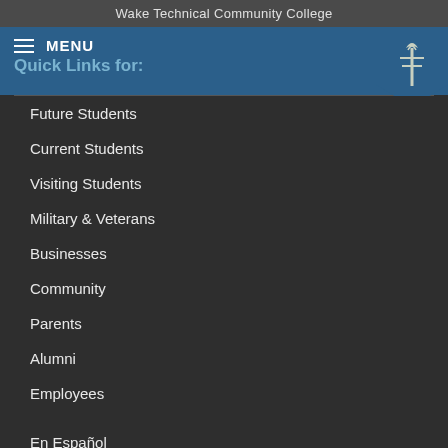Wake Technical Community College
MENU
Quick Links for:
Future Students
Current Students
Visiting Students
Military & Veterans
Businesses
Community
Parents
Alumni
Employees
En Español
Help & Support